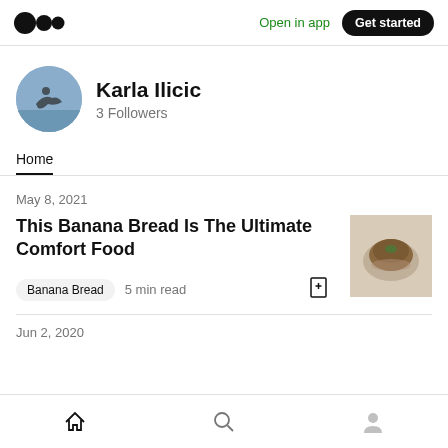Medium logo | Open in app | Get started
[Figure (photo): Circular avatar photo of a person doing yoga/stretching pose on water, blue-grey tones]
Karla Ilicic
3 Followers
Home
May 8, 2021
This Banana Bread Is The Ultimate Comfort Food
[Figure (photo): Small thumbnail photo of banana bread on a white surface]
Banana Bread   5 min read
Jun 2, 2020
Home | Search | Profile navigation icons